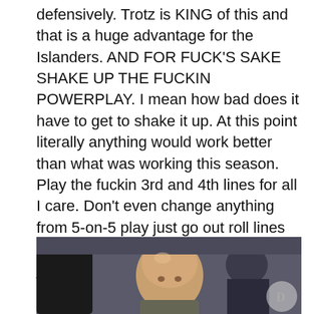defensively. Trotz is KING of this and that is a huge advantage for the Islanders. AND FOR FUCK'S SAKE SHAKE UP THE FUCKIN POWERPLAY. I mean how bad does it have to get to shake it up. At this point literally anything would work better than what was working this season. Play the fuckin 3rd and 4th lines for all I care. Don't even change anything from 5-on-5 play just go out roll lines and act like nothing's changed. They just have one less player. Someone will be open if you forecheck and force turnovers.
[Figure (photo): Photo of a bald man at what appears to be a hockey arena or sporting event, partially cropped at the bottom of the page.]